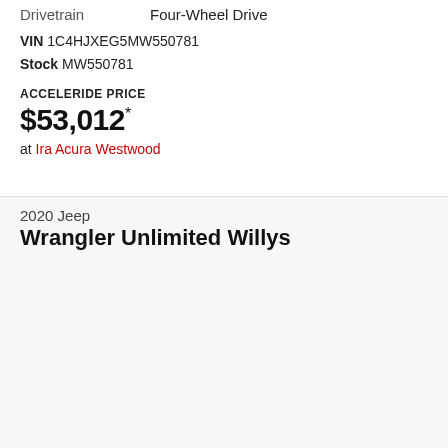Drivetrain    Four-Wheel Drive
VIN 1C4HJXEG5MW550781
Stock MW550781
ACCELERIDE PRICE
$53,012*
at Ira Acura Westwood
2020 Jeep
Wrangler Unlimited Willys
[Figure (photo): 2020 Jeep Wrangler Unlimited Willys in dark gray/charcoal color, front three-quarter view, with a yellow price sticker on the windshield and a green oval '2020' sticker. Parked outdoors with trees visible in background.]
NEED HELP?